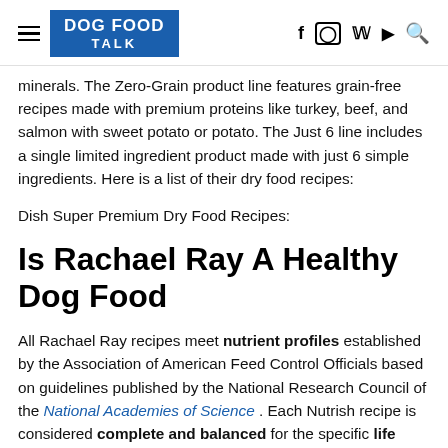DOG FOOD TALK
minerals. The Zero-Grain product line features grain-free recipes made with premium proteins like turkey, beef, and salmon with sweet potato or potato. The Just 6 line includes a single limited ingredient product made with just 6 simple ingredients. Here is a list of their dry food recipes:
Dish Super Premium Dry Food Recipes:
Is Rachael Ray A Healthy Dog Food
All Rachael Ray recipes meet nutrient profiles established by the Association of American Feed Control Officials based on guidelines published by the National Research Council of the National Academies of Science . Each Nutrish recipe is considered complete and balanced for the specific life stage printed on the label of each product.